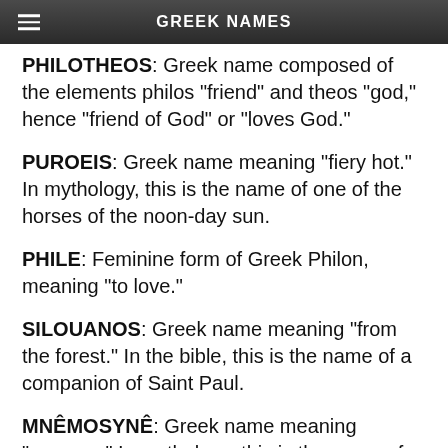GREEK NAMES
PHILOTHEOS: Greek name composed of the elements philos "friend" and theos "god," hence "friend of God" or "loves God."
PUROEIS: Greek name meaning "fiery hot." In mythology, this is the name of one of the horses of the noon-day sun.
PHILE: Feminine form of Greek Philon, meaning "to love."
SILOUANOS:  Greek name meaning "from the forest." In the bible, this is the name of a companion of Saint Paul.
MNÊMOSYNÊ:  Greek name meaning "memory." In mythology, this is the name of the personification of memory, a